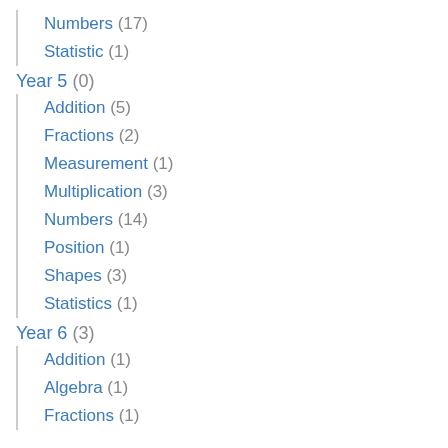Numbers (17)
Statistic (1)
Year 5 (0)
Addition (5)
Fractions (2)
Measurement (1)
Multiplication (3)
Numbers (14)
Position (1)
Shapes (3)
Statistics (1)
Year 6 (3)
Addition (1)
Algebra (1)
Fractions (1)